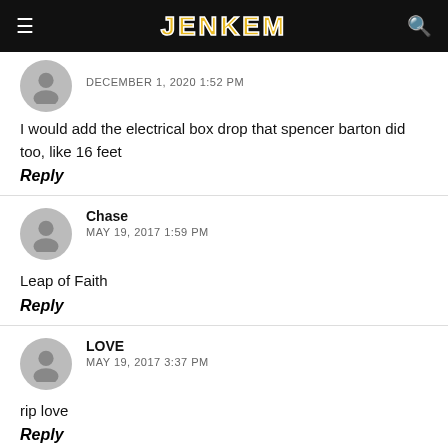JENKEM
DECEMBER 1, 2020 1:52 PM
I would add the electrical box drop that spencer barton did too, like 16 feet
Reply
Chase
MAY 19, 2017 1:59 PM
Leap of Faith
Reply
LOVE
MAY 19, 2017 3:37 PM
rip love
Reply
Trap Lord
MAY 19, 2017 3:45 PM